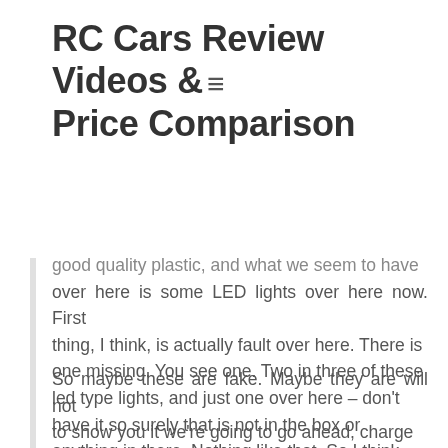RC Cars Review Videos & Price Comparison
good quality plastic, and what we seem to have over here is some LED lights over here now. First thing, I think, is actually fault over here. There is one missing. You see one. Two in three of these led type lights, and just one over here – don't have it so surely that is not in the box or anything in there. Nothing like that. So I think it's, a factory fault that one over there, but we have lights over here.
So maybe these are fake. Maybe they are will not to show you it we're going to go ahead, charge the device up power up and let's, see how it is and we'll give it a test while as well so we'll be right back I've charged it, and here it is so I Just